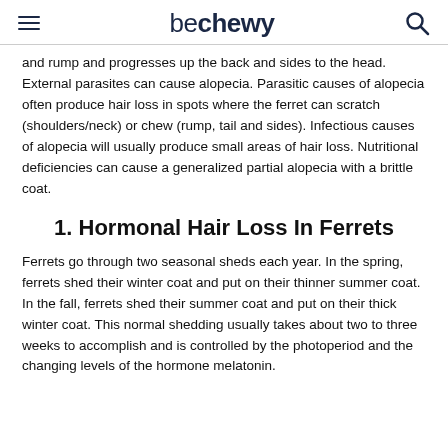be chewy
and rump and progresses up the back and sides to the head. External parasites can cause alopecia. Parasitic causes of alopecia often produce hair loss in spots where the ferret can scratch (shoulders/neck) or chew (rump, tail and sides). Infectious causes of alopecia will usually produce small areas of hair loss. Nutritional deficiencies can cause a generalized partial alopecia with a brittle coat.
1. Hormonal Hair Loss In Ferrets
Ferrets go through two seasonal sheds each year. In the spring, ferrets shed their winter coat and put on their thinner summer coat. In the fall, ferrets shed their summer coat and put on their thick winter coat. This normal shedding usually takes about two to three weeks to accomplish and is controlled by the photoperiod and the changing levels of the hormone melatonin.